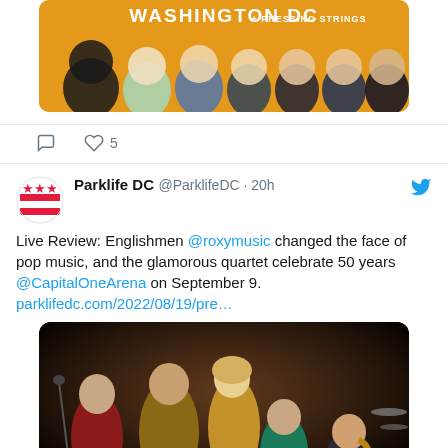[Figure (photo): Concert promotional image with yellow/orange background showing band members standing together, text reads WASHINGTON DC + PRESSING STRINGS]
5
[Figure (logo): Parklife DC avatar - Washington DC flag themed circular logo with red and white stripes and stars]
Parklife DC @ParklifeDC · 20h
Live Review: Englishmen @roxymusic changed the face of pop music, and the glamorous quartet celebrate 50 years @CapitalOneArena on September 9. parklifedc.com/2022/08/19/pre…
[Figure (photo): Vintage-style photo of Roxy Music band members posing in glamorous 1970s attire including sequined and animal print outfits, some holding instruments including a saxophone]